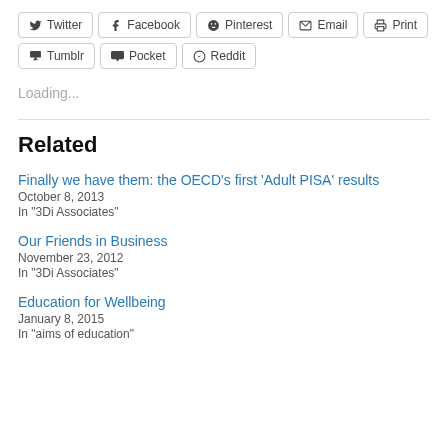Twitter
Facebook
Pinterest
Email
Print
Tumblr
Pocket
Reddit
Loading...
Related
Finally we have them: the OECD’s first ‘Adult PISA’ results
October 8, 2013
In "3Di Associates"
Our Friends in Business
November 23, 2012
In "3Di Associates"
Education for Wellbeing
January 8, 2015
In "aims of education"